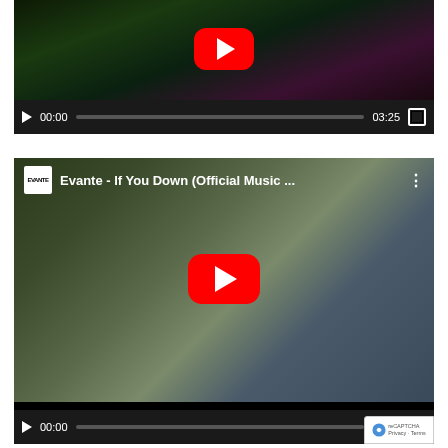[Figure (screenshot): Embedded YouTube video player (top) showing a music video thumbnail with colorful stage lighting and a red YouTube play button. Controls show 00:00 / 03:25.]
[Figure (screenshot): Embedded YouTube video player (bottom) showing 'Evante - If You Down (Official Music ...' with a man in a white cap and a woman smiling outdoors. Red YouTube play button centered. Controls show 00:00 / 02:33.]